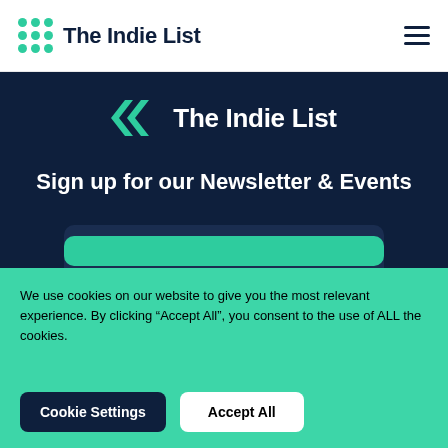The Indie List
[Figure (logo): The Indie List logo with chevron icon and text on dark background]
Sign up for our Newsletter & Events
Email Address
We use cookies on our website to give you the most relevant experience. By clicking “Accept All”, you consent to the use of ALL the cookies.
Cookie Settings
Accept All